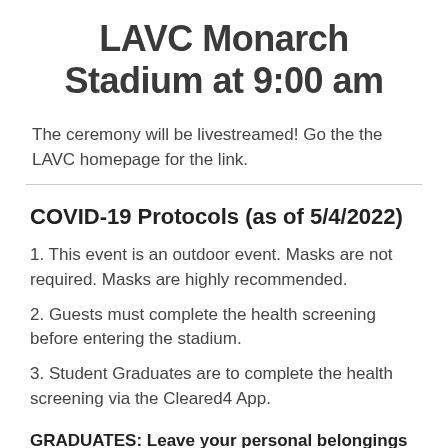LAVC Monarch Stadium at 9:00 am
The ceremony will be livestreamed!  Go the the LAVC homepage for the link.
COVID-19 Protocols (as of 5/4/2022)
1. This event is an outdoor event. Masks are not required. Masks are highly recommended.
2. Guests must complete the health screening before entering the stadium.
3. Student Graduates are to complete the health screening via the Cleared4 App.
GRADUATES: Leave your personal belongings with